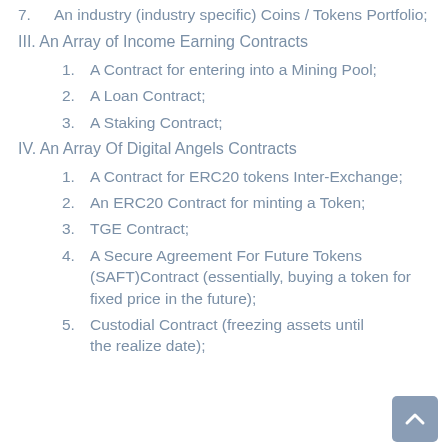7. An industry (industry specific) Coins / Tokens Portfolio;
III. An Array of Income Earning Contracts
1. A Contract for entering into a Mining Pool;
2. A Loan Contract;
3. A Staking Contract;
IV. An Array Of Digital Angels Contracts
1. A Contract for ERC20 tokens Inter-Exchange;
2. An ERC20 Contract for minting a Token;
3. TGE Contract;
4. A Secure Agreement For Future Tokens (SAFT)Contract (essentially, buying a token for fixed price in the future);
5. Custodial Contract (freezing assets until the realize date);